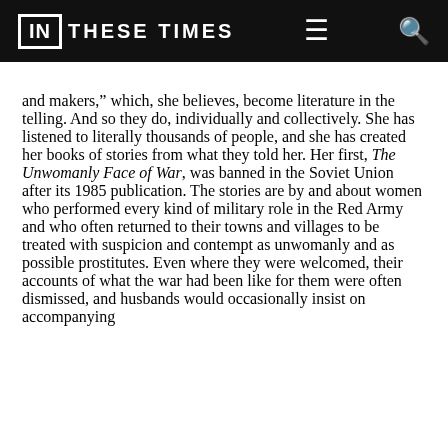IN THESE TIMES
and makers,” which, she believes, become literature in the telling. And so they do, individually and collectively. She has listened to literally thousands of people, and she has created her books of stories from what they told her. Her first, The Unwomanly Face of War, was banned in the Soviet Union after its 1985 publication. The stories are by and about women who performed every kind of military role in the Red Army and who often returned to their towns and villages to be treated with suspicion and contempt as unwomanly and as possible prostitutes. Even where they were welcomed, their accounts of what the war had been like for them were often dismissed, and husbands would occasionally insist on accompanying